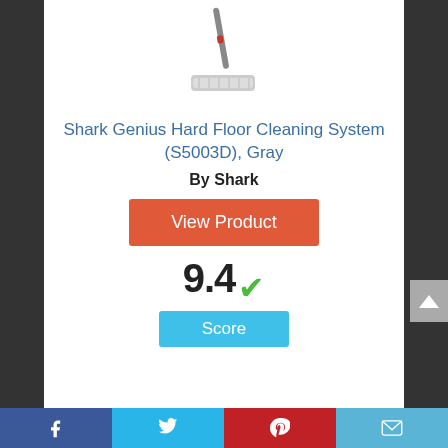[Figure (photo): Product image of a Shark steam mop (S5003D) shown at an angle, gray and red colored, with a flat rectangular mop head.]
Shark Genius Hard Floor Cleaning System (S5003D), Gray
By Shark
View Product
9.4 ✓
Score